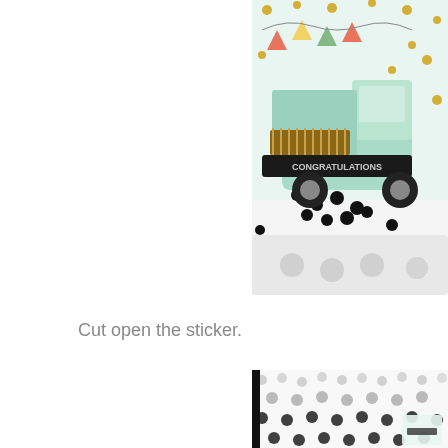[Figure (photo): Close-up photo of a congratulations shaker card with a mint green truck, flowers, banner bunting, and gold/black confetti dots scattered around. The card reads 'CONGRATULATIONS'.]
Cut open the sticker.
[Figure (photo): Photo of a white polka-dot patterned sticker sheet with black and gray dots, with a small corner of a congratulations card visible underneath.]